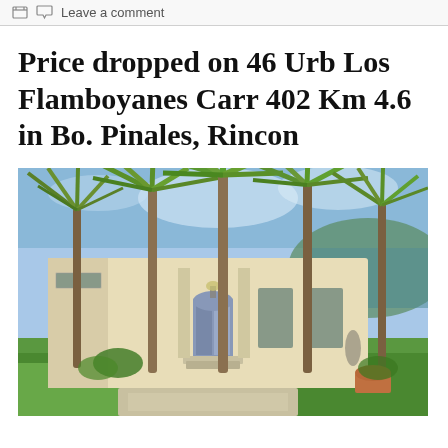Leave a comment
Price dropped on 46 Urb Los Flamboyanes Carr 402 Km 4.6 in Bo. Pinales, Rincon
[Figure (photo): Exterior photo of a cream/beige single-story house surrounded by tall palm trees with lush green lawns, a walkway leading to the entrance, and a water body visible in the background on the right.]